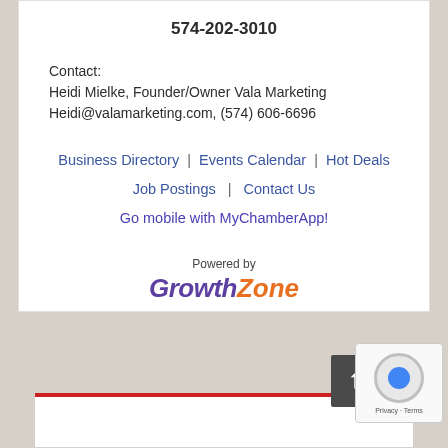574-202-3010
Contact:
Heidi Mielke, Founder/Owner Vala Marketing
Heidi@valamarketing.com, (574) 606-6696
Business Directory | Events Calendar | Hot Deals
Job Postings | Contact Us
Go mobile with MyChamberApp!
[Figure (logo): Powered by GrowthZone logo — 'Growth' in purple italic bold, 'Zone' in orange italic bold]
[Figure (infographic): Bottom section of webpage with gray background, red horizontal bar, white strip below, scroll-to-top button (dark gray box with up arrow), and reCAPTCHA privacy widget]